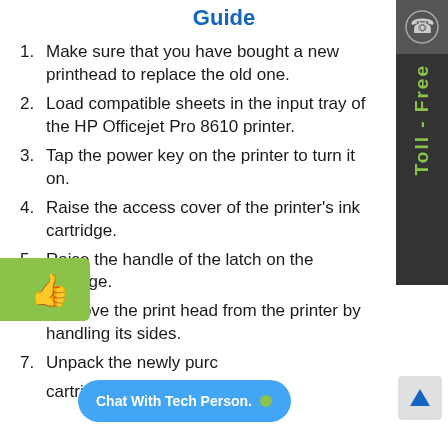Guide
Make sure that you have bought a new printhead to replace the old one.
Load compatible sheets in the input tray of the HP Officejet Pro 8610 printer.
Tap the power key on the printer to turn it on.
Raise the access cover of the printer's ink cartridge.
Raise the handle of the latch on the carriage.
Remove the print head from the printer by handling its sides.
Unpack the newly purchased cartridges.